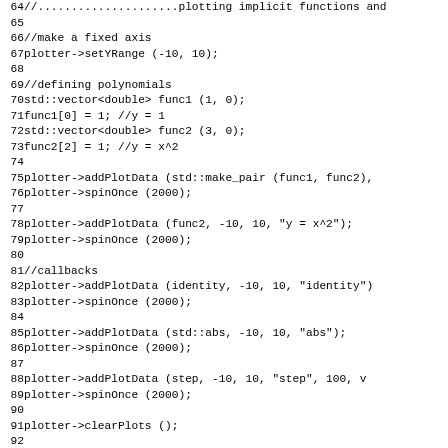64  //.....................plotting implicit functions and
65
66  //make a fixed axis
67  plotter->setYRange (-10, 10);
68
69  //defining polynomials
70  std::vector<double> func1 (1, 0);
71  func1[0] = 1; //y = 1
72  std::vector<double> func2 (3, 0);
73  func2[2] = 1; //y = x^2
74
75  plotter->addPlotData (std::make_pair (func1, func2),
76  plotter->spinOnce (2000);
77
78  plotter->addPlotData (func2, -10, 10, "y = x^2");
79  plotter->spinOnce (2000);
80
81  //callbacks
82  plotter->addPlotData (identity, -10, 10, "identity"
83  plotter->spinOnce (2000);
84
85  plotter->addPlotData (std::abs, -10, 10, "abs");
86  plotter->spinOnce (2000);
87
88  plotter->addPlotData (step, -10, 10, "step", 100, v
89  plotter->spinOnce (2000);
90
91  plotter->clearPlots ();
92
93  //.....................A simple animation.......
94  std::vector<double> fcn (3, 0);